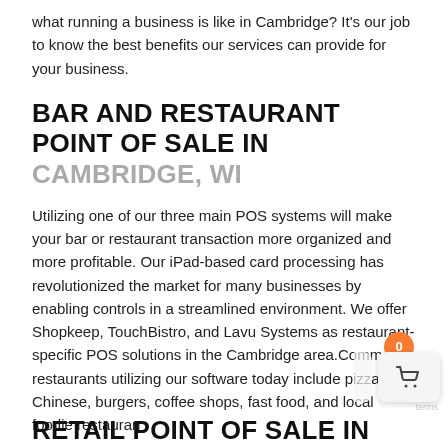what running a business is like in Cambridge? It’s our job to know the best benefits our services can provide for your business.
BAR AND RESTAURANT POINT OF SALE IN CAMBRIDGE, WI
Utilizing one of our three main POS systems will make your bar or restaurant transaction more organized and more profitable. Our iPad-based card processing has revolutionized the market for many businesses by enabling controls in a streamlined environment. We offer Shopkeep, TouchBistro, and Lavu Systems as restaurant-specific POS solutions in the Cambridge area.Common restaurants utilizing our software today include pizza, Chinese, burgers, coffee shops, fast food, and local foodie restauran…
RETAIL POINT OF SALE IN